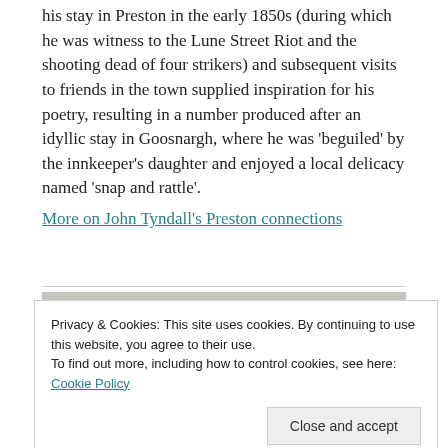his stay in Preston in the early 1850s (during which he was witness to the Lune Street Riot and the shooting dead of four strikers) and subsequent visits to friends in the town supplied inspiration for his poetry, resulting in a number produced after an idyllic stay in Goosnargh, where he was 'beguiled' by the innkeeper's daughter and enjoyed a local delicacy named 'snap and rattle'.
More on John Tyndall's Preston connections
[Figure (photo): A vintage black and white photograph, partially visible, showing what appears to be a historical street or building scene.]
Privacy & Cookies: This site uses cookies. By continuing to use this website, you agree to their use.
To find out more, including how to control cookies, see here: Cookie Policy
Close and accept